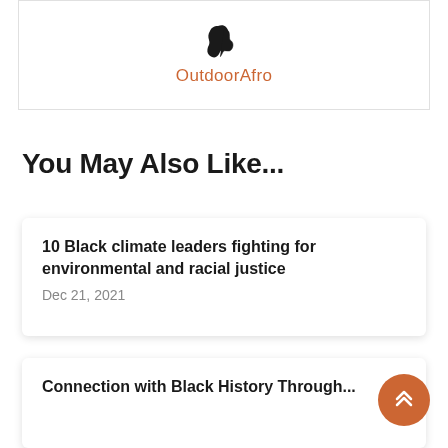[Figure (logo): OutdoorAfro logo — a stylized silhouette of Africa continent in black, above the brand name in orange text]
You May Also Like...
10 Black climate leaders fighting for environmental and racial justice
Dec 21, 2021
Connection with Black History Through...